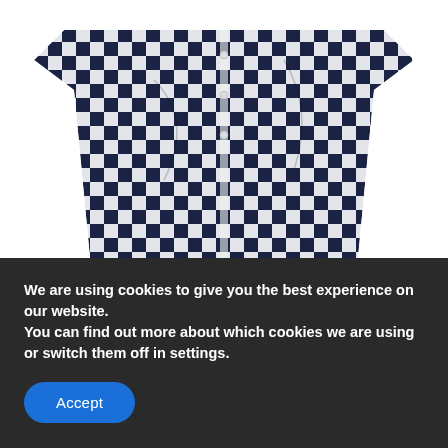[Figure (photo): Photo of a person wearing a navy and white checkered/gingham button-up shirt, cropped to show torso area]
Samson Ilemobayo
RESEARCHER & DEVELOPER
We are using cookies to give you the best experience on our website.
You can find out more about which cookies we are using or switch them off in settings.
Accept